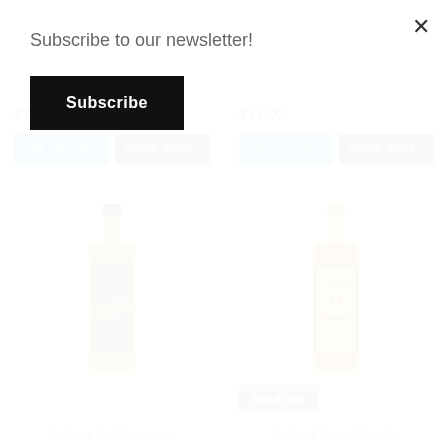Subscribe to our newsletter!
Subscribe
$15.00
ADD TO CART
QUICK SHOP
$14.00
ADD TO CART
QUICK SHOP
[Figure (photo): Pickle hot sauce bottle with green label]
[Figure (photo): Slap Ya Mama hot sauce bottle with yellow label]
Sold out
× (close button)